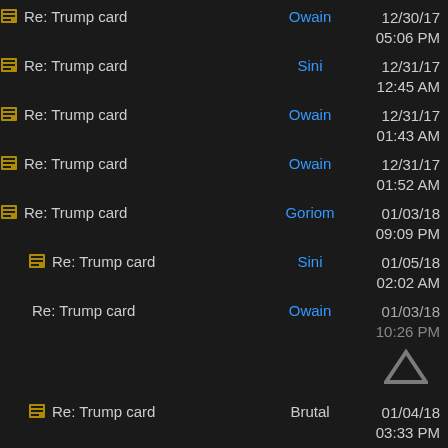Re: Trump card | Owain | 12/30/17 05:06 PM
Re: Trump card | Sini | 12/31/17 12:45 AM
Re: Trump card | Owain | 12/31/17 01:43 AM
Re: Trump card | Owain | 12/31/17 01:52 AM
Re: Trump card | Goriom | 01/03/18 09:09 PM
Re: Trump card | Sini | 01/05/18 02:02 AM
Re: Trump card | Owain | 01/03/18 10:26 PM
Re: Trump card | Brutal | 01/04/18 03:33 PM